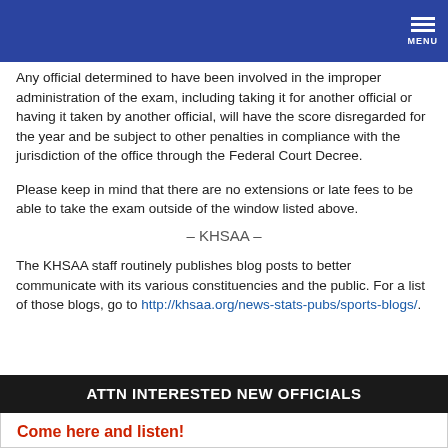MENU
Any official determined to have been involved in the improper administration of the exam, including taking it for another official or having it taken by another official, will have the score disregarded for the year and be subject to other penalties in compliance with the jurisdiction of the office through the Federal Court Decree.
Please keep in mind that there are no extensions or late fees to be able to take the exam outside of the window listed above.
– KHSAA –
The KHSAA staff routinely publishes blog posts to better communicate with its various constituencies and the public. For a list of those blogs, go to http://khsaa.org/news-stats-pubs/sports-blogs/.
ATTN INTERESTED NEW OFFICIALS
Come here and listen!